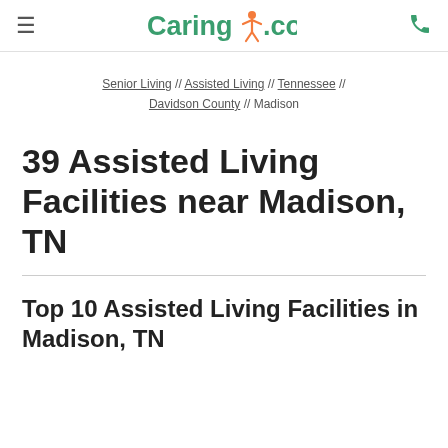≡  Caring.com  📞
Senior Living // Assisted Living // Tennessee // Davidson County // Madison
39 Assisted Living Facilities near Madison, TN
Top 10 Assisted Living Facilities in Madison, TN